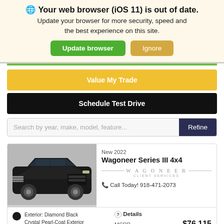🌐 Your web browser (iOS 11) is out of date. Update your browser for more security, speed and the best experience on this site.
Update browser | Ignore
Value My Trade
Schedule Test Drive
Search by year, make, model, feature...
Refine
New 2022
Wagoneer Series III 4x4
WAGONEER CLIENT SERVICES
Call Today! 918-471-2073
Exterior: Diamond Black Crystal Pearl-Coat Exterior
Details
MSRP $76,115